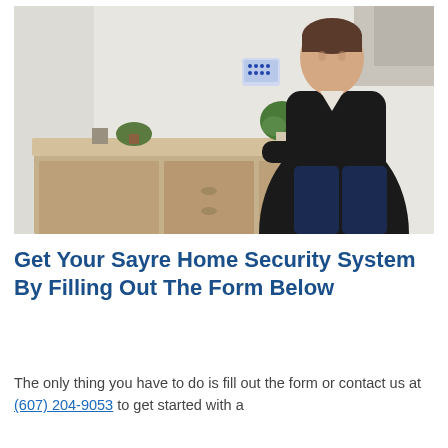[Figure (photo): A woman in a black top leaning against a wooden console/dresser with a home security keypad on the wall behind her, along with decorative plants and items on the dresser top.]
Get Your Sayre Home Security System By Filling Out The Form Below
The only thing you have to do is fill out the form or contact us at (607) 204-9053 to get started with a ...